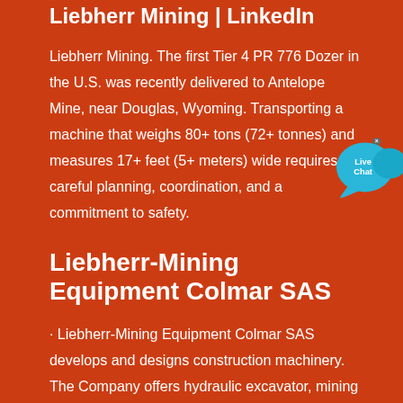Liebherr Mining | LinkedIn
Liebherr Mining. The first Tier 4 PR 776 Dozer in the U.S. was recently delivered to Antelope Mine, near Douglas, Wyoming. Transporting a machine that weighs 80+ tons (72+ tonnes) and measures 17+ feet (5+ meters) wide requires careful planning, coordination, and a commitment to safety.
Liebherr-Mining Equipment Colmar SAS
· Liebherr-Mining Equipment Colmar SAS develops and designs construction machinery. The Company offers hydraulic excavator, mining equipment, crawler …